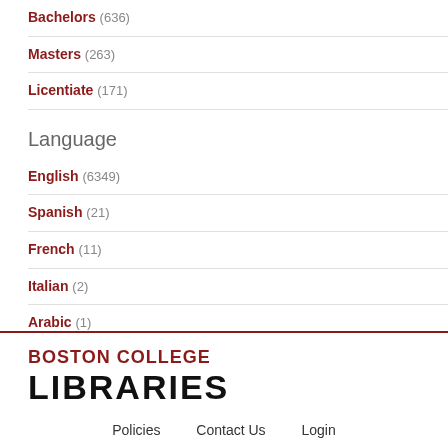Bachelors (636)
Masters (263)
Licentiate (171)
Language
English (6349)
Spanish (21)
French (11)
Italian (2)
Arabic (1)
German (1)
Show more
[Figure (logo): Boston College Libraries logo — 'BOSTON COLLEGE' in dark red, 'LIBRARIES' in large black bold text]
Policies   Contact Us   Login